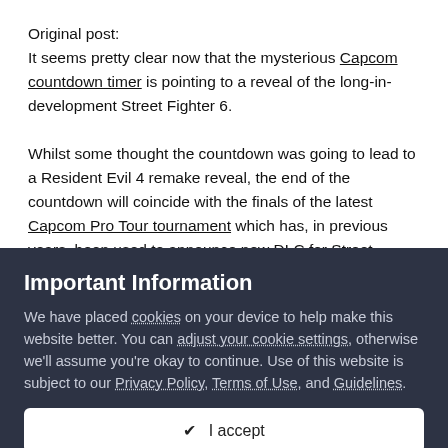Original post:
It seems pretty clear now that the mysterious Capcom countdown timer is pointing to a reveal of the long-in-development Street Fighter 6.

Whilst some thought the countdown was going to lead to a Resident Evil 4 remake reveal, the end of the countdown will coincide with the finals of the latest Capcom Pro Tour tournament which has, in previous years, been used to announce new DLC for Street Fighter V. Given that Capcom has said Street Fighter V will no longer be updated, it seems likely any
Important Information
We have placed cookies on your device to help make this website better. You can adjust your cookie settings, otherwise we'll assume you're okay to continue. Use of this website is subject to our Privacy Policy, Terms of Use, and Guidelines.
✔ I accept